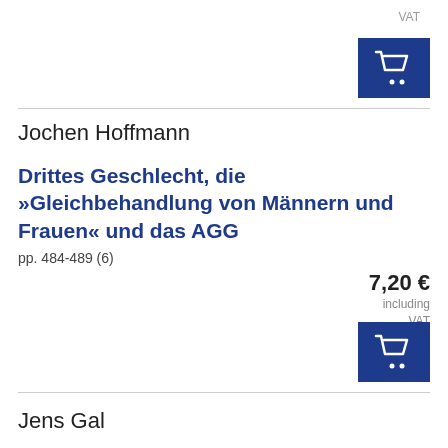VAT
[Figure (other): Blue shopping cart button icon]
Jochen Hoffmann
Drittes Geschlecht, die »Gleichbehandlung von Männern und Frauen« und das AGG
pp. 484-489 (6)
7,20 €
including VAT
[Figure (other): Blue shopping cart button icon]
Jens Gal